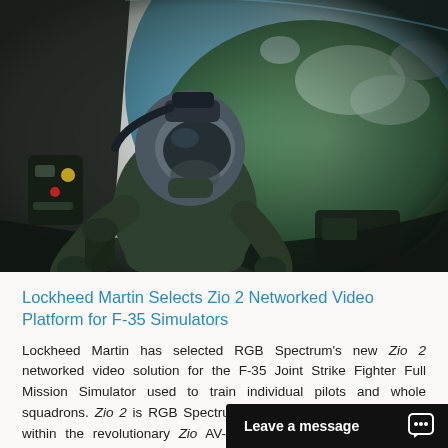[Figure (photo): Pilot in military flight suit and helmet sitting in an F-35 Full Mission Simulator cockpit, looking upward at a wraparound spherical display showing aerial landscape imagery. Dark cockpit interior with controls visible.]
Lockheed Martin Selects Zio 2 Networked Video Platform for F-35 Simulators
Lockheed Martin has selected RGB Spectrum’s new Zio 2 networked video solution for the F-35 Joint Strike Fighter Full Mission Simulator used to train individual pilots and whole squadrons. Zio 2 is RGB Spectrum’s next generation of products within the revolutionary Zio AV-over-IP platform, developed for military, government and civi